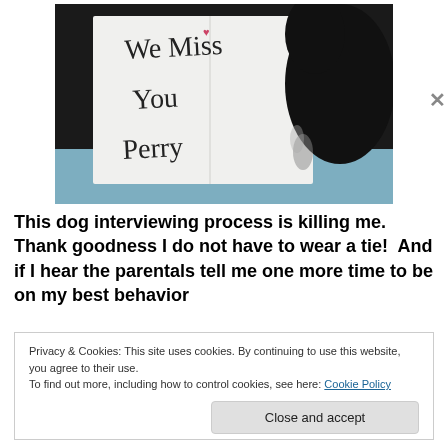[Figure (photo): Photo of a black dog next to a handwritten sign that reads 'We Miss You Perry' with a small heart drawn above the 'i' in Miss.]
This dog interviewing process is killing me.  Thank goodness I do not have to wear a tie!  And if I hear the parentals tell me one more time to be on my best behavior
Privacy & Cookies: This site uses cookies. By continuing to use this website, you agree to their use.
To find out more, including how to control cookies, see here: Cookie Policy
Close and accept